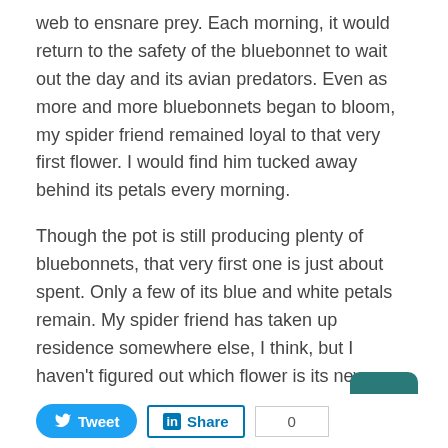web to ensnare prey. Each morning, it would return to the safety of the bluebonnet to wait out the day and its avian predators. Even as more and more bluebonnets began to bloom, my spider friend remained loyal to that very first flower. I would find him tucked away behind its petals every morning.
Though the pot is still producing plenty of bluebonnets, that very first one is just about spent. Only a few of its blue and white petals remain. My spider friend has taken up residence somewhere else, I think, but I haven't figured out which flower is its new home. Either way, the garden adventure continues!
Want the whole story? Pick up a copy of the Port Isabel-South Padre Press, or subscribe to our E-Edition by clicking here.